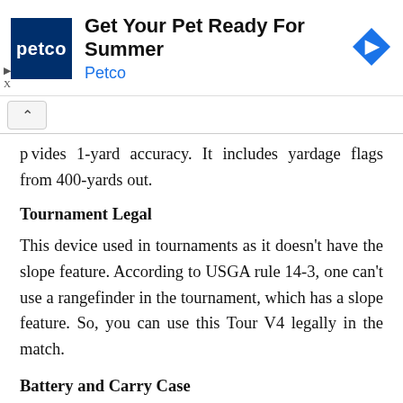[Figure (screenshot): Petco advertisement banner with Petco logo (dark blue square with 'petco' in white), headline 'Get Your Pet Ready For Summer', sponsor name 'Petco' in blue, and a blue diamond navigation icon on the right. Play and close (X) controls at lower left.]
provides 1-yard accuracy. It includes yardage flags from 400-yards out.
Tournament Legal
This device used in tournaments as it doesn't have the slope feature. According to USGA rule 14-3, one can't use a rangefinder in the tournament, which has a slope feature. So, you can use this Tour V4 legally in the match.
Battery and Carry Case